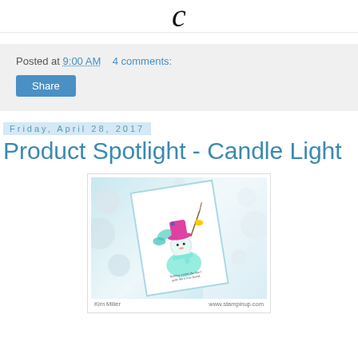[Figure (logo): Partial cursive/script logo showing the letter 'c' at the top of the page]
Posted at 9:00 AM    4 comments:
Share
Friday, April 28, 2017
Product Spotlight - Candle Light
[Figure (photo): A handmade greeting card featuring a colored snowman character wearing a pink hat and teal scarf, with a small yellow bird, held at an angle against a white lacy background with silver bokeh elements. Caption text visible at bottom.]